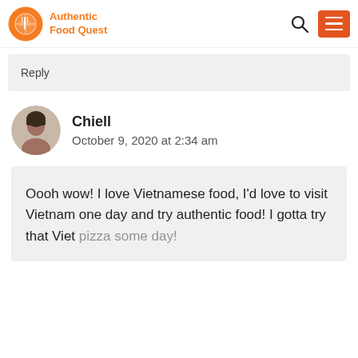Authentic Food Quest
Reply
Chiell
October 9, 2020 at 2:34 am
Oooh wow! I love Vietnamese food, I'd love to visit Vietnam one day and try authentic food! I gotta try that Viet pizza some day!